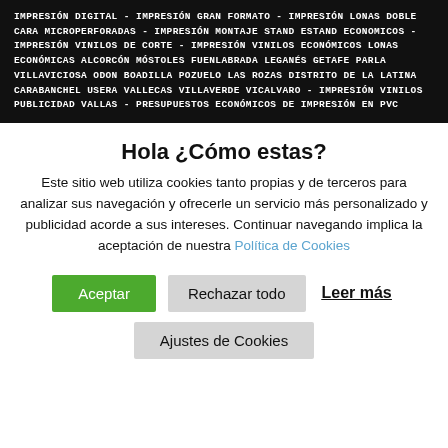IMPRESIÓN DIGITAL - IMPRESIÓN GRAN FORMATO - IMPRESIÓN LONAS DOBLE CARA MICROPERFORADAS - IMPRESIÓN MONTAJE STAND ESTAND ECONOMICOS - IMPRESIÓN VINILOS DE CORTE - IMPRESIÓN VINILOS ECONÓMICOS LONAS ECONÓMICAS ALCORCÓN MÓSTOLES FUENLABRADA LEGANÉS GETAFE PARLA VILLAVICIOSA ODON BOADILLA POZUELO LAS ROZAS DISTRITO DE LA LATINA CARABANCHEL USERA VALLECAS VILLAVERDE VICALVARO - IMPRESIÓN VINILOS PUBLICIDAD VALLAS - PRESUPUESTOS ECONÓMICOS DE IMPRESIÓN EN PVC
Hola ¿Cómo estas?
Este sitio web utiliza cookies tanto propias y de terceros para analizar sus navegación y ofrecerle un servicio más personalizado y publicidad acorde a sus intereses. Continuar navegando implica la aceptación de nuestra Política de Cookies
Aceptar
Rechazar todo
Leer más
Ajustes de Cookies